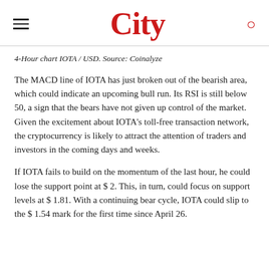City
4-Hour chart IOTA / USD. Source: Coinalyze
The MACD line of IOTA has just broken out of the bearish area, which could indicate an upcoming bull run. Its RSI is still below 50, a sign that the bears have not given up control of the market. Given the excitement about IOTA's toll-free transaction network, the cryptocurrency is likely to attract the attention of traders and investors in the coming days and weeks.
If IOTA fails to build on the momentum of the last hour, he could lose the support point at $ 2. This, in turn, could focus on support levels at $ 1.81. With a continuing bear cycle, IOTA could slip to the $ 1.54 mark for the first time since April 26.